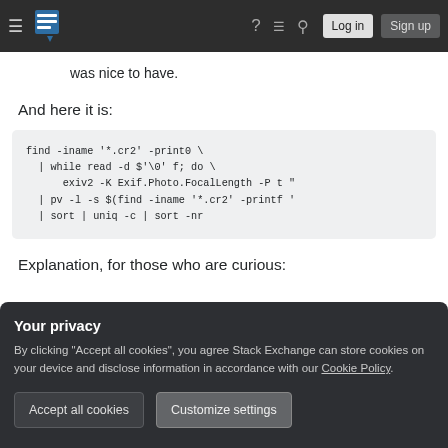Stack Exchange navigation bar with hamburger menu, logo, help, chat, search icons, Log in and Sign up buttons
was nice to have.
And here it is:
find -iname '*.cr2' -print0 \
  | while read -d $'\0' f; do \
      exiv2 -K Exif.Photo.FocalLength -P t "
  | pv -l -s $(find -iname '*.cr2' -printf '
  | sort | uniq -c | sort -nr
Explanation, for those who are curious:
Your privacy
By clicking "Accept all cookies", you agree Stack Exchange can store cookies on your device and disclose information in accordance with our Cookie Policy.
Accept all cookies   Customize settings